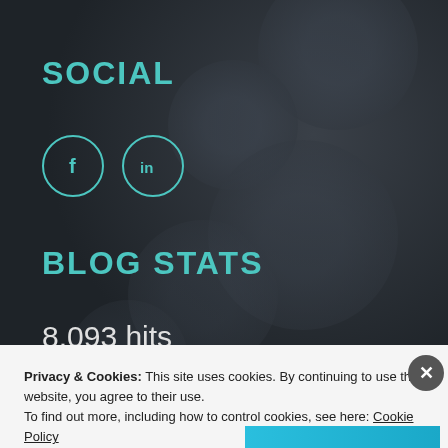SOCIAL
[Figure (illustration): Two circular social media icon buttons: Facebook (f) and LinkedIn (in), outlined in teal on dark background]
BLOG STATS
8,093 hits
Advertisements
Privacy & Cookies: This site uses cookies. By continuing to use this website, you agree to their use. To find out more, including how to control cookies, see here: Cookie Policy
Close and accept